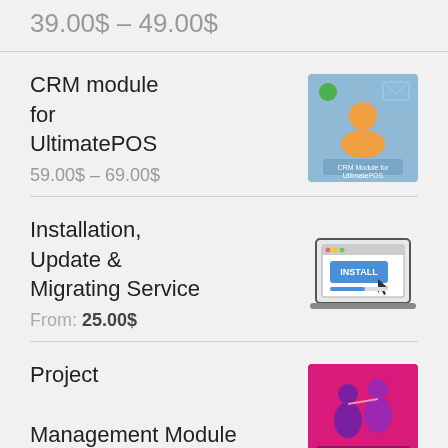39.00$ - 49.00$
CRM module for UltimatePOS
[Figure (illustration): CRM Module for UltimatePOS product thumbnail with blue background showing a person icon and communication symbols]
59.00$ - 69.00$
Installation, Update & Migrating Service
[Figure (illustration): Laptop showing INSTALL screen with a cursor clicking a button]
From: 25.00$
Project Management Module for UltimatePOS
[Figure (illustration): Pink/magenta background with project management illustration showing person figures and text]